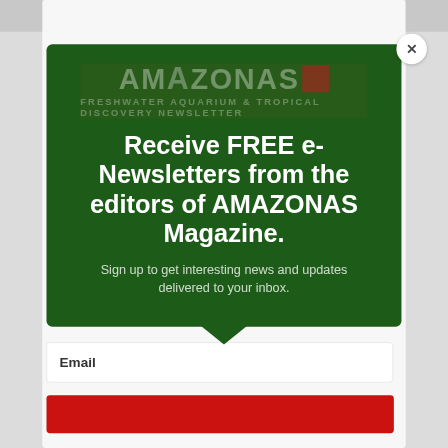[Figure (logo): AMAZONAS Freshwater Aquarium & Tropical Discovery Newsletter logo in faded tones on dark green background]
Receive FREE e-Newsletters from the editors of AMAZONAS Magazine.
Sign up to get interesting news and updates delivered to your inbox.
Email